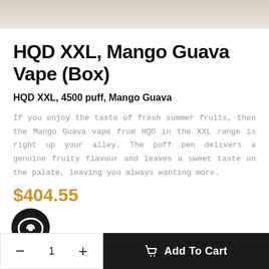[Figure (photo): Top portion of product image, partially cropped at the top of the page]
HQD XXL, Mango Guava Vape (Box)
HQD XXL, 4500 puff, Mango Guava
If you enjoy the taste of fresh summer fruits, then the Mango Guava vape from HQD in the XXL range is right up your alley. The puff pen delivers a genuine fruity flavour and leaves a sweet taste on the palate, leaving you always wanting more.
$404.55
[Figure (other): Dark circular chat/message icon button]
- 1 +   Add To Cart